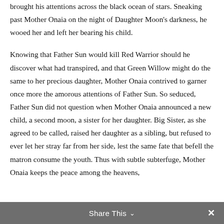brought his attentions across the black ocean of stars. Sneaking past Mother Onaia on the night of Daughter Moon's darkness, he wooed her and left her bearing his child.
Knowing that Father Sun would kill Red Warrior should he discover what had transpired, and that Green Willow might do the same to her precious daughter, Mother Onaia contrived to garner once more the amorous attentions of Father Sun. So seduced, Father Sun did not question when Mother Onaia announced a new child, a second moon, a sister for her daughter. Big Sister, as she agreed to be called, raised her daughter as a sibling, but refused to ever let her stray far from her side, lest the same fate that befell the matron consume the youth. Thus with subtle subterfuge, Mother Onaia keeps the peace among the heavens,
Share This ∨  ✕